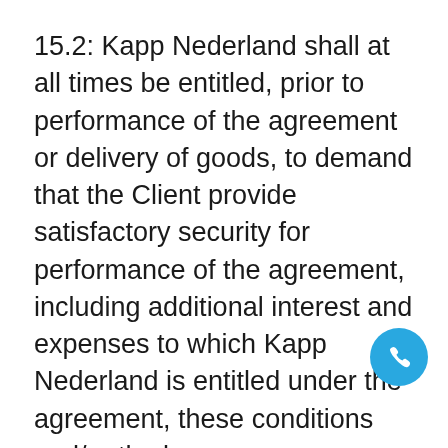15.2: Kapp Nederland shall at all times be entitled, prior to performance of the agreement or delivery of goods, to demand that the Client provide satisfactory security for performance of the agreement, including additional interest and expenses to which Kapp Nederland is entitled under the agreement, these conditions and/or the law.
15.3: Objections to invoices must be notified to Kapp Nederland in writing, with reasons, within 14 days of the invoice date. If Client fails to do so, Client shall be deemed to have accepted the invoice. Objections to the